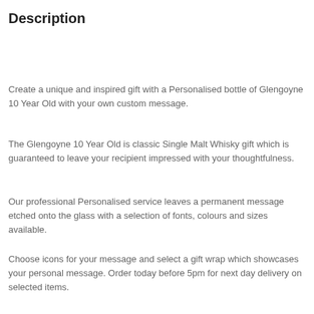Description
Create a unique and inspired gift with a Personalised bottle of Glengoyne 10 Year Old with your own custom message.
The Glengoyne 10 Year Old is classic Single Malt Whisky gift which is guaranteed to leave your recipient impressed with your thoughtfulness.
Our professional Personalised service leaves a permanent message etched onto the glass with a selection of fonts, colours and sizes available.
Choose icons for your message and select a gift wrap which showcases your personal message. Order today before 5pm for next day delivery on selected items.